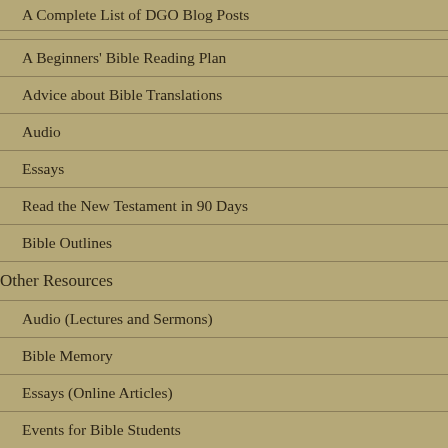A Complete List of DGO Blog Posts
A Beginners’ Bible Reading Plan
Advice about Bible Translations
Audio
Essays
Read the New Testament in 90 Days
Bible Outlines
Other Resources
Audio (Lectures and Sermons)
Bible Memory
Essays (Online Articles)
Events for Bible Students
Useful Books